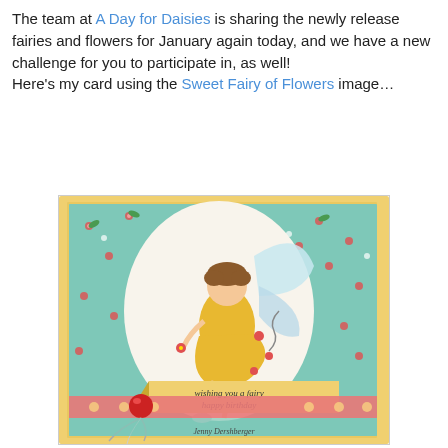The team at A Day for Daisies is sharing the newly release fairies and flowers for January again today, and we have a new challenge for you to participate in, as well!
Here's my card using the Sweet Fairy of Flowers image…
[Figure (photo): A handmade greeting card featuring a fairy illustration on a floral patterned background. The card has a yellow border, a mint/teal floral background paper, and a large cream oval in the center. A fairy wearing a yellow dress with glittery wings sits on the oval holding a flower. Red heart/flower embellishments scatter around. A yellow banner reads 'wishing you a fairy happy birthday'. A red gem and silver ribbon embellishment decorates the bottom left. A polka dot ribbon band runs horizontally near the bottom. The card is signed by the creator.]